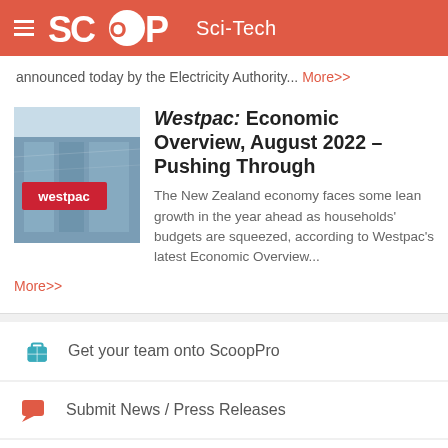SCOOP Sci-Tech
announced today by the Electricity Authority... More>>
Westpac: Economic Overview, August 2022 – Pushing Through
The New Zealand economy faces some lean growth in the year ahead as households' budgets are squeezed, according to Westpac's latest Economic Overview...
More>>
Get your team onto ScoopPro
Submit News / Press Releases
ScoopCitizen / Become a Supporter